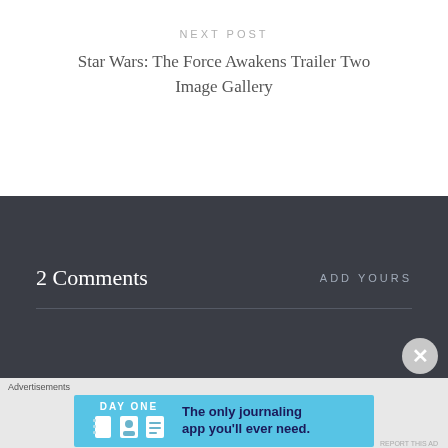NEXT POST
Star Wars: The Force Awakens Trailer Two Image Gallery
2 Comments
ADD YOURS
Advertisements
[Figure (infographic): Day One journaling app advertisement banner with blue background, app icon illustrations, and text 'The only journaling app you'll ever need.']